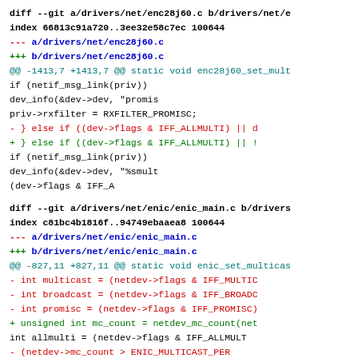diff --git a/drivers/net/enc28j60.c b/drivers/net/e
index 66813c91a720..3ee32e58c7ec 100644
--- a/drivers/net/enc28j60.c
+++ b/drivers/net/enc28j60.c
@@ -1413,7 +1413,7 @@ static void enc28j60_set_mult
if (netif_msg_link(priv))
dev_info(&dev->dev, "promis
priv->rxfilter = RXFILTER_PROMISC;
-        } else if ((dev->flags & IFF_ALLMULTI) || d
+        } else if ((dev->flags & IFF_ALLMULTI) || !
if (netif_msg_link(priv))
dev_info(&dev->dev, "%smult
(dev->flags & IFF_A
diff --git a/drivers/net/enic/enic_main.c b/drivers
index c81bc4b1816f..94749ebaaea8 100644
--- a/drivers/net/enic/enic_main.c
+++ b/drivers/net/enic/enic_main.c
@@ -827,11 +827,11 @@ static void enic_set_multicas
-        int multicast = (netdev->flags & IFF_MULTIC
-        int broadcast = (netdev->flags & IFF_BROADC
-        int promisc = (netdev->flags & IFF_PROMISC)
+        unsigned int mc_count = netdev_mc_count(net
int allmulti = (netdev->flags & IFF_ALLMULT
-                (netdev->mc_count > ENIC_MULTICAST_PER